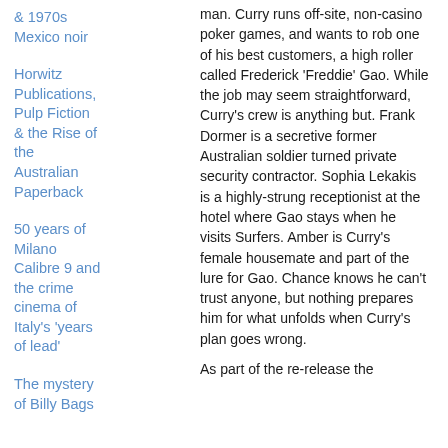& 1970s Mexico noir
Horwitz Publications, Pulp Fiction & the Rise of the Australian Paperback
50 years of Milano Calibre 9 and the crime cinema of Italy's 'years of lead'
The mystery of Billy Bags
man. Curry runs off-site, non-casino poker games, and wants to rob one of his best customers, a high roller called Frederick 'Freddie' Gao. While the job may seem straightforward, Curry's crew is anything but. Frank Dormer is a secretive former Australian soldier turned private security contractor. Sophia Lekakis is a highly-strung receptionist at the hotel where Gao stays when he visits Surfers. Amber is Curry's female housemate and part of the lure for Gao. Chance knows he can't trust anyone, but nothing prepares him for what unfolds when Curry's plan goes wrong.
As part of the re-release the